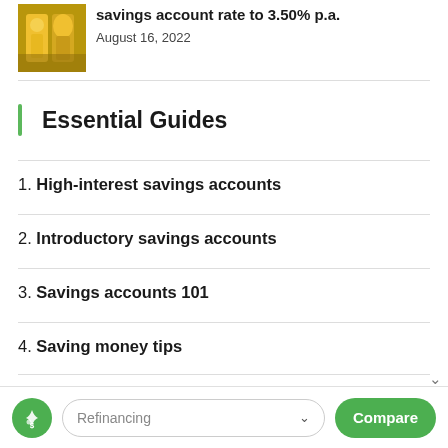[Figure (photo): Thumbnail image of golden balloon letters, used as article illustration]
savings account rate to 3.50% p.a.
August 16, 2022
Essential Guides
1. High-interest savings accounts
2. Introductory savings accounts
3. Savings accounts 101
4. Saving money tips